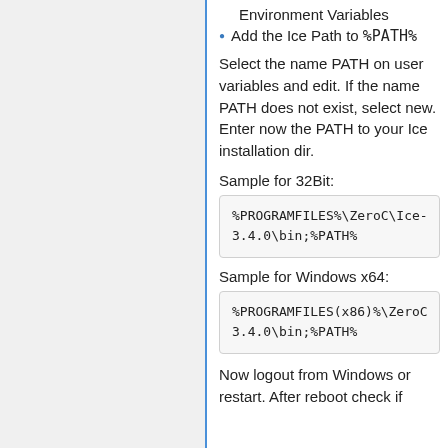Environment Variables
Add the Ice Path to %PATH%
Select the name PATH on user variables and edit. If the name PATH does not exist, select new. Enter now the PATH to your Ice installation dir.
Sample for 32Bit:
%PROGRAMFILES%\ZeroC\Ice-3.4.0\bin;%PATH%
Sample for Windows x64:
%PROGRAMFILES(x86)%\ZeroC\Ice-3.4.0\bin;%PATH%
Now logout from Windows or restart. After reboot check if